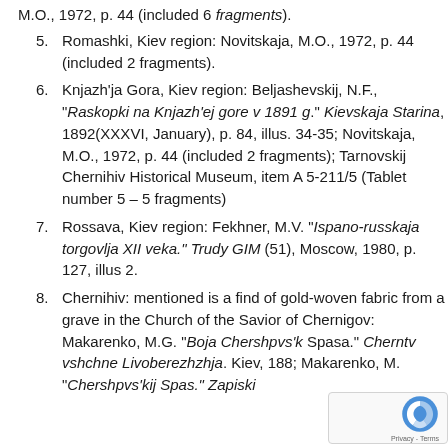(continued top) M.O., 1972, p. 44 (included 6 fragments).
5. Romashki, Kiev region: Novitskaja, M.O., 1972, p. 44 (included 2 fragments).
6. Knjazh'ja Gora, Kiev region: Beljashevskij, N.F., "Raskopki na Knjazh'ej gore v 1891 g." Kievskaja Starina, 1892(XXXVI, January), p. 84, illus. 34-35; Novitskaja, M.O., 1972, p. 44 (included 2 fragments); Tarnovskij Chernihiv Historical Museum, item A 5-211/5 (Tablet number 5 – 5 fragments)
7. Rossava, Kiev region: Fekhner, M.V. "Ispano-russkaja torgovlja XII veka." Trudy GIM (51), Moscow, 1980, p. 127, illus 2.
8. Chernihiv: mentioned is a find of gold-woven fabric from a grave in the Church of the Savior of Chernigov: Makarenko, M.G. "Boja Chershpvs'k Spasa." Cherntv vshchne Livoberezhzhja. Kiev, 188; Makarenko, M. "Chershpvs'kij Spas." Zapiski